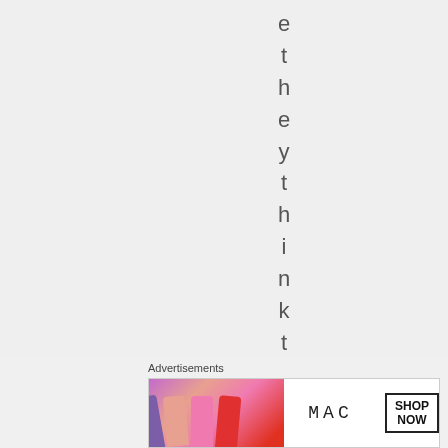e t h e y t h i n k t h e
Advertisements
[Figure (photo): MAC Cosmetics advertisement banner showing colorful lipsticks on the left and MAC logo with SHOP NOW button]